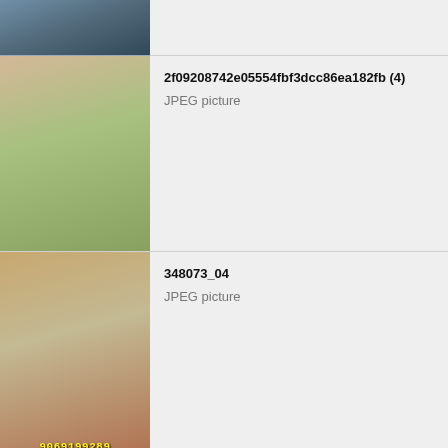[Figure (screenshot): File manager / gallery list view showing image thumbnails on the left and file names with type on the right. Five rows visible.]
2f09208742e05554fbf3dcc86ea182fb (4)
JPEG picture
348073_04
JPEG picture
4-2 (1)
JPEG picture
4-2 (1) (2)
JPEG picture
4-2 (2)
JPEG picture